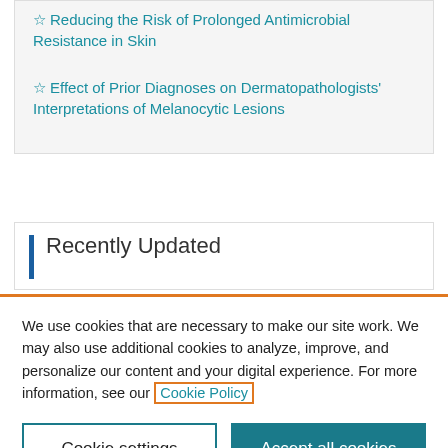☆ Reducing the Risk of Prolonged Antimicrobial Resistance in Skin
☆ Effect of Prior Diagnoses on Dermatopathologists' Interpretations of Melanocytic Lesions
Recently Updated
We use cookies that are necessary to make our site work. We may also use additional cookies to analyze, improve, and personalize our content and your digital experience. For more information, see our Cookie Policy
Cookie settings
Accept all cookies